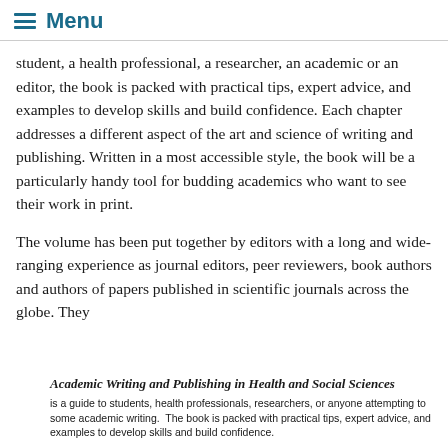Menu
student, a health professional, a researcher, an academic or an editor, the book is packed with practical tips, expert advice, and examples to develop skills and build confidence. Each chapter addresses a different aspect of the art and science of writing and publishing. Written in a most accessible style, the book will be a particularly handy tool for budding academics who want to see their work in print.
The volume has been put together by editors with a long and wide-ranging experience as journal editors, peer reviewers, book authors and authors of papers published in scientific journals across the globe. They
Academic Writing and Publishing in Health and Social Sciences is a guide to students, health professionals, researchers, or anyone attempting to some academic writing. The book is packed with practical tips, expert advice, and examples to develop skills and build confidence.